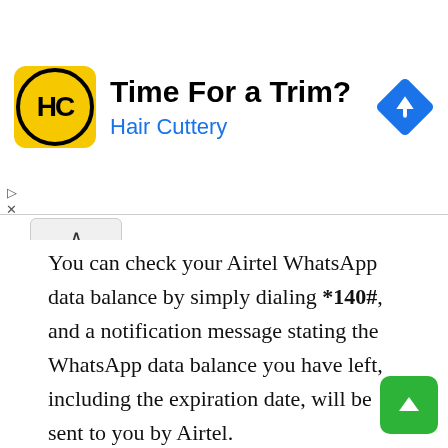[Figure (infographic): Advertisement banner for Hair Cuttery. Shows an HC logo on yellow background, text 'Time For a Trim?' and 'Hair Cuttery', and a blue navigation/directions icon in top right.]
You can check your Airtel WhatsApp data balance by simply dialing *140#, and a notification message stating the WhatsApp data balance you have left, including the expiration date, will be sent to you by Airtel.
Airtel Whatsapp Plan – FAQ
How can I buy WhatsApp data on Airtel?
You can buy WhatsApp data on Airtel by simply dialing *141#, and selecting "Social